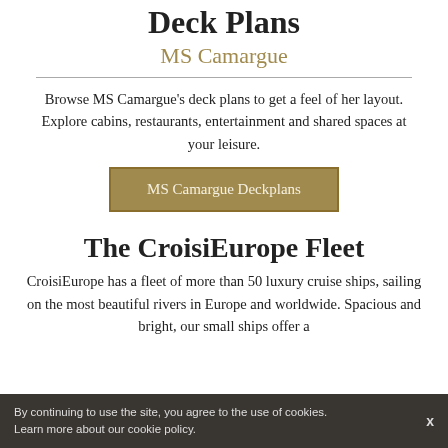Deck Plans
MS Camargue
Browse MS Camargue's deck plans to get a feel of her layout. Explore cabins, restaurants, entertainment and shared spaces at your leisure.
[Figure (other): Button labeled 'MS Camargue Deckplans' with gold/tan background]
The CroisiEurope Fleet
CroisiEurope has a fleet of more than 50 luxury cruise ships, sailing on the most beautiful rivers in Europe and worldwide. Spacious and bright, our small ships offer a warm and refined design. The fleet varies from 22 to ... depending on the design of the ship. At the forefront of technology, the facilities of each ship off...
By continuing to use the site, you agree to the use of cookies. Learn more about our cookie policy.